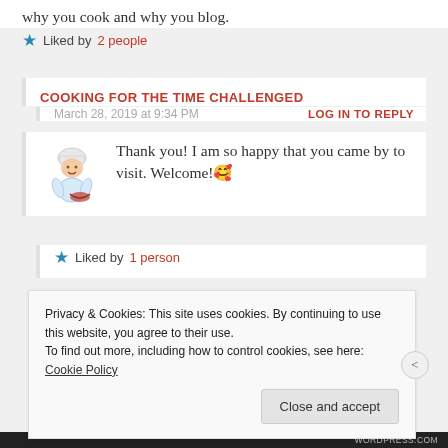why you cook and why you blog.
Liked by 2 people
COOKING FOR THE TIME CHALLENGED
March 28, 2019 at 9:34 PM
LOG IN TO REPLY
[Figure (illustration): Chef avatar illustration - cartoon chef stirring a bowl]
Thank you! I am so happy that you came by to visit. Welcome! 🥰
Liked by 1 person
Privacy & Cookies: This site uses cookies. By continuing to use this website, you agree to their use.
To find out more, including how to control cookies, see here: Cookie Policy
Close and accept
WORDPRESS.COM